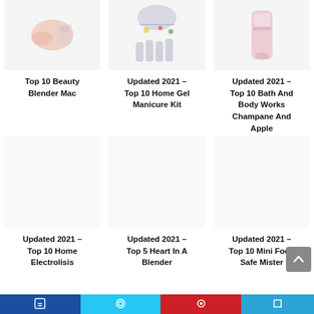[Figure (photo): Top 10 Beauty Blender Mac product image on white background]
[Figure (photo): Updated 2021 – Top 10 Home Gel Manicure Kit product image]
[Figure (photo): Updated 2021 – Top 10 Bath And Body Works Champane And Apple product image]
Top 10 Beauty Blender Mac
Updated 2021 – Top 10 Home Gel Manicure Kit
Updated 2021 – Top 10 Bath And Body Works Champane And Apple
[Figure (photo): Updated 2021 – Top 10 Home Electrolisis product image]
[Figure (photo): Updated 2021 – Top 5 Heart In A Blender product image]
[Figure (photo): Updated 2021 – Top 10 Mini Food Safe Mister product image]
Updated 2021 – Top 10 Home Electrolisis
Updated 2021 – Top 5 Heart In A Blender
Updated 2021 – Top 10 Mini Food Safe Mister